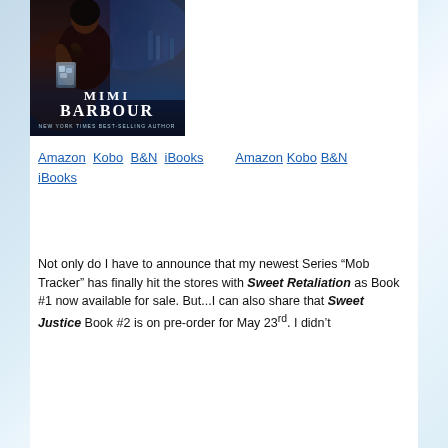[Figure (photo): Book cover for Mimi Barbour, New York Times Best-selling Author, showing a woman with tattoos holding a glass at a bar, with a man in the background, dark atmospheric lighting]
Amazon  Kobo  B&N  iBooks         Amazon Kobo B&N iBooks
Not only do I have to announce that my newest Series “Mob Tracker” has finally hit the stores with Sweet Retaliation as Book #1 now available for sale. But...I can also share that Sweet Justice Book #2 is on pre-order for May 23rd. I didn’t